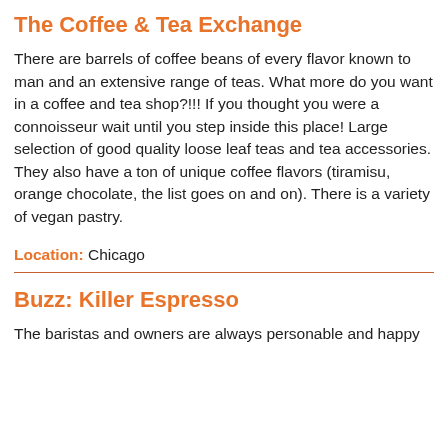The Coffee & Tea Exchange
There are barrels of coffee beans of every flavor known to man and an extensive range of teas. What more do you want in a coffee and tea shop?!!! If you thought you were a connoisseur wait until you step inside this place! Large selection of good quality loose leaf teas and tea accessories. They also have a ton of unique coffee flavors (tiramisu, orange chocolate, the list goes on and on). There is a variety of vegan pastry.
Location: Chicago
Buzz: Killer Espresso
The baristas and owners are always personable and happy